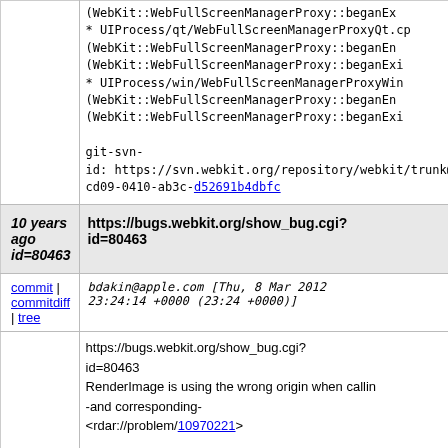(WebKit::WebFullScreenManagerProxy::beganEx...
* UIProcess/qt/WebFullScreenManagerProxyQt.cp...
(WebKit::WebFullScreenManagerProxy::beganEn...
(WebKit::WebFullScreenManagerProxy::beganExi...
* UIProcess/win/WebFullScreenManagerProxyWin...
(WebKit::WebFullScreenManagerProxy::beganEn...
(WebKit::WebFullScreenManagerProxy::beganExi...
git-svn-
id: https://svn.webkit.org/repository/webkit/trunk@...
cd09-0410-ab3c-d52691b4dbfc
10 years ago
https://bugs.webkit.org/show_bug.cgi?
id=80463
commit | commitdiff | tree   bdakin@apple.com [Thu, 8 Mar 2012 23:24:14 +0000 (23:24 +0000)]
https://bugs.webkit.org/show_bug.cgi?
id=80463
RenderImage is using the wrong origin when callin...
-and corresponding-
<rdar://problem/10970221>

Reviewed by Dan Bernstein.

Source/WebCore:

Use the exact same rect that we paint with instead...
visualOverflowRect() which does not always have...